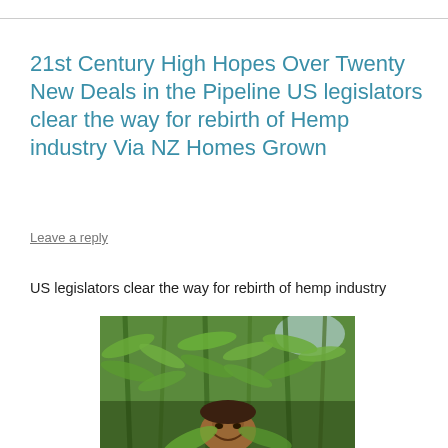21st Century High Hopes Over Twenty New Deals in the Pipeline US legislators clear the way for rebirth of Hemp industry Via NZ Homes Grown
Leave a reply
US legislators clear the way for rebirth of hemp industry
[Figure (photo): A person smiling from within a dense field of tall hemp/cannabis plants, surrounded by green leafy stems]